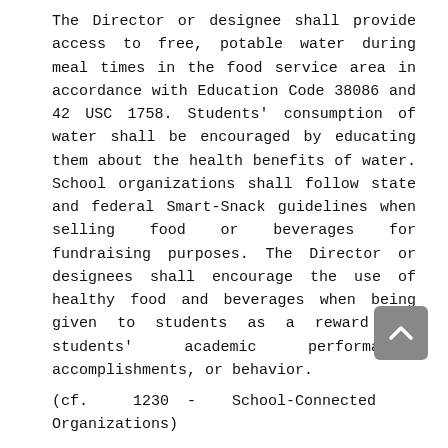The Director or designee shall provide access to free, potable water during meal times in the food service area in accordance with Education Code 38086 and 42 USC 1758. Students' consumption of water shall be encouraged by educating them about the health benefits of water. School organizations shall follow state and federal Smart-Snack guidelines when selling food or beverages for fundraising purposes. The Director or designees shall encourage the use of healthy food and beverages when being given to students as a reward for students' academic performance, accomplishments, or behavior.
(cf.  1230  -  School-Connected Organizations)